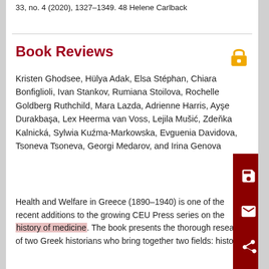33, no. 4 (2020), 1327–1349. 48 Helene Carlback
Book Reviews
Kristen Ghodsee, Hülya Adak, Elsa Stéphan, Chiara Bonfiglioli, Ivan Stankov, Rumiana Stoilova, Rochelle Goldberg Ruthchild, Mara Lazda, Adrienne Harris, Ayşe Durakbaşa, Lex Heerma van Voss, Lejila Mušić, Zdeňka Kalnická, Sylwia Kuźma-Markowska, Evguenia Davidova, Tsoneva Tsoneva, Georgi Medarov, and Irina Genova
Health and Welfare in Greece (1890–1940) is one of the recent additions to the growing CEU Press series on the history of medicine. The book presents the thorough research of two Greek historians who bring together two fields: history